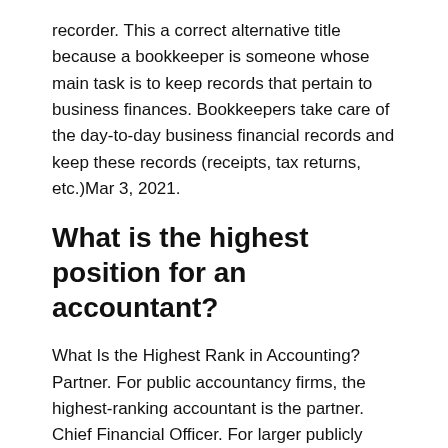recorder. This a correct alternative title because a bookkeeper is someone whose main task is to keep records that pertain to business finances. Bookkeepers take care of the day-to-day business financial records and keep these records (receipts, tax returns, etc.)Mar 3, 2021.
What is the highest position for an accountant?
What Is the Highest Rank in Accounting? Partner. For public accountancy firms, the highest-ranking accountant is the partner. Chief Financial Officer. For larger publicly traded companies, the top accountant is usually the chief financial officer. Controller/Accounting Manager. Chairman of the SEC.